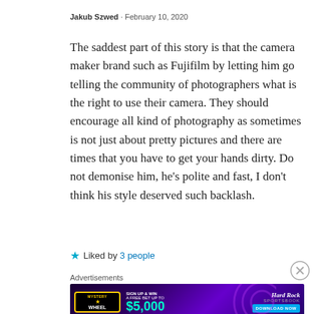Jakub Szwed · February 10, 2020
The saddest part of this story is that the camera maker brand such as Fujifilm by letting him go telling the community of photographers what is the right to use their camera. They should encourage all kind of photography as sometimes is not just about pretty pictures and there are times that you have to get your hands dirty. Do not demonise him, he's polite and fast, I don't think his style deserved such backlash.
Liked by 3 people
[Figure (screenshot): Hard Rock Sportsbook advertisement banner: Mystery Wheel - Sign up & win a free bet up to $5,000, Download Now button]